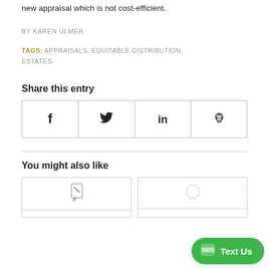new appraisal which is not cost-efficient.
BY KAREN ULMER
TAGS: APPRAISALS, EQUITABLE DISTRIBUTION, ESTATES
Share this entry
[Figure (other): Social share buttons row with icons for Facebook (f), Twitter (bird), LinkedIn (in), and Reddit (alien)]
You might also like
[Figure (other): Two card thumbnails side by side, left card shows a pencil icon, right card partially visible with a chat/SMS icon, and a green 'Text Us' button overlay]